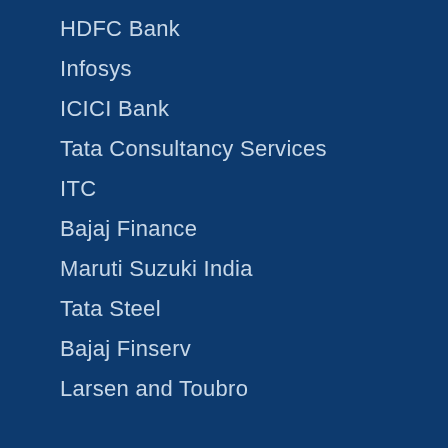HDFC Bank
Infosys
ICICI Bank
Tata Consultancy Services
ITC
Bajaj Finance
Maruti Suzuki India
Tata Steel
Bajaj Finserv
Larsen and Toubro